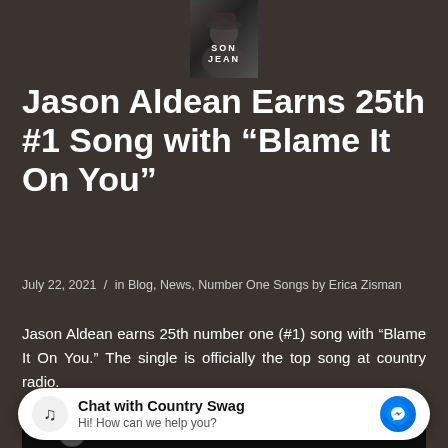[Figure (photo): Album art thumbnail showing 'SON JEAN' text with a person wearing a cowboy hat]
Jason Aldean Earns 25th #1 Song with “Blame It On You”
July 22, 2021 / in Blog, News, Number One Songs by Erica Zisman
Jason Aldean earns 25th number one (#1) song with “Blame It On You.” The single is officially the top song at country radio.
[Figure (photo): Partial image strip showing a person in a cowboy hat at the bottom of the page]
Chat with Country Swag
Hi! How can we help you?